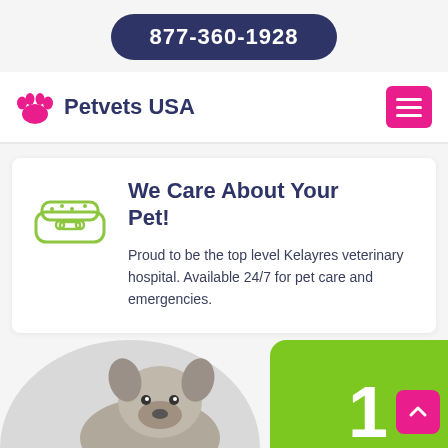877-360-1928
Petvets USA
[Figure (logo): Pink paw print logo icon for Petvets USA]
[Figure (illustration): Green line-art icon of a pet food bowl with a bone]
We Care About Your Pet!
Proud to be the top level Kelayres veterinary hospital. Available 24/7 for pet care and emergencies.
[Figure (photo): Photo of a French bulldog puppy, partially visible at the bottom of the page]
[Figure (infographic): Green rounded box with the number 1 in white, and a pink scroll-to-top button with an up arrow]